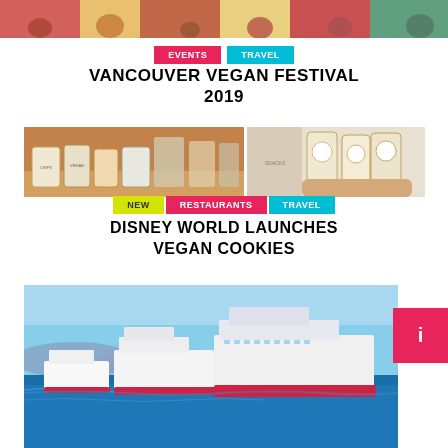[Figure (photo): Top banner image showing people at a festival, partially cropped]
EVENTS   TRAVEL
VANCOUVER VEGAN FESTIVAL 2019
[Figure (photo): Two-panel photo: left shows snack packages on display table, right shows person holding snack packages]
NEW   RESTAURANTS   TRAVEL
DISNEY WORLD LAUNCHES VEGAN COOKIES
[Figure (photo): Cruise ships on ocean water under blue sky]